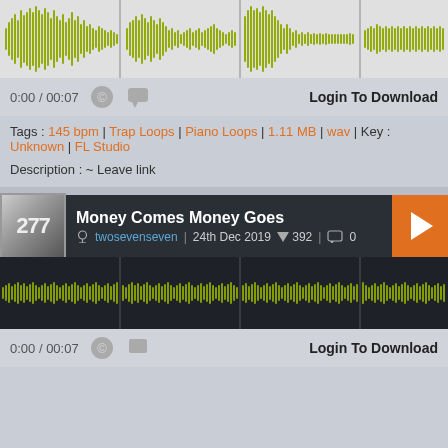[Figure (screenshot): Audio waveform player for first track (partial, top of page). Shows yellow-green waveform on light background with time markers.]
0:00 / 00:07
Login To Download
Tags : 145 bpm | Trap Loops | Piano Loops | 1.11 MB | wav | Key : Unknown | FL Studio
Description : ~ Leave link
Money Comes Money Goes
twosevenseven  24th Dec 2019  392  0
[Figure (screenshot): Audio waveform player for Money Comes Money Goes. Shows yellow-green waveform on dark background with vertical time markers.]
0:00 / 00:07
Login To Download